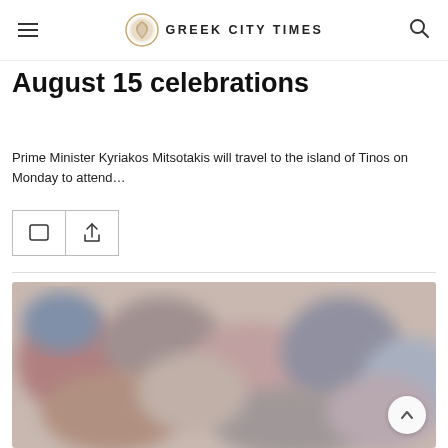GREEK CITY TIMES
August 15 celebrations
Prime Minister Kyriakos Mitsotakis will travel to the island of Tinos on Monday to attend…
[Figure (photo): Blurred crowd photo used as article illustration]
[Figure (logo): Greek City Times logo with circular emblem]